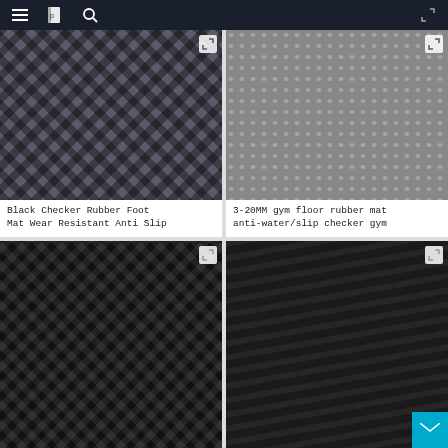Navigation bar with menu, logo, and search icons
[Figure (photo): Close-up photo of dark gray checker/diamond pattern rubber mat surface]
Black Checker Rubber Foot Mat Wear Resistant Anti Slip
[Figure (photo): Close-up photo of gray rubber mat with circular stud/dot anti-slip pattern]
3-20MM gym floor rubber mat anti-water/slip checker gym
[Figure (photo): Black rubber mat with diamond checker pattern, shown at an angle]
[Figure (photo): Very dark/black rubber mat with ribbed linear pattern, shown partially with teal mail button overlay]